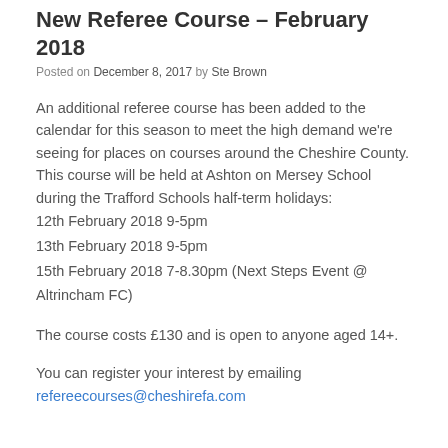New Referee Course – February 2018
Posted on December 8, 2017 by Ste Brown
An additional referee course has been added to the calendar for this season to meet the high demand we're seeing for places on courses around the Cheshire County. This course will be held at Ashton on Mersey School during the Trafford Schools half-term holidays:
12th February 2018 9-5pm
13th February 2018 9-5pm
15th February 2018 7-8.30pm (Next Steps Event @ Altrincham FC)
The course costs £130 and is open to anyone aged 14+.
You can register your interest by emailing refereecourses@cheshirefa.com